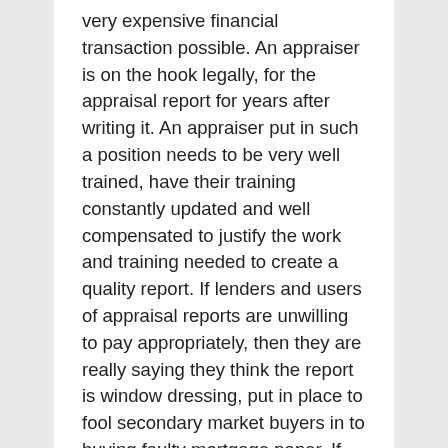very expensive financial transaction possible. An appraiser is on the hook legally, for the appraisal report for years after writing it. An appraiser put in such a position needs to be very well trained, have their training constantly updated and well compensated to justify the work and training needed to create a quality report. If lenders and users of appraisal reports are unwilling to pay appropriately, then they are really saying they think the report is window dressing, put in place to fool secondary market buyers in to buying faulty mortgage paper. If lenders and users of reports threaten to do away with appraisers and the appraisal process, all they doing is exposing their real motives, which are to make as much money as possible and damn the